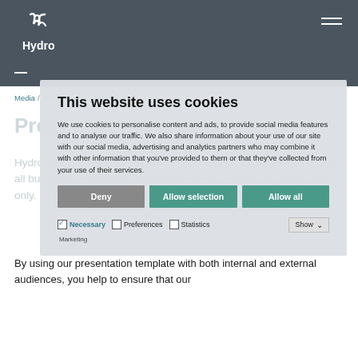Hydro
Media / Brand Center / Presentations
Presentations
Hydro has a single PowerPoint template which must be used across all business areas. It is available in widescreen (16:9 aspect ratio) only.
This website uses cookies
We use cookies to personalise content and ads, to provide social media features and to analyse our traffic. We also share information about your use of our site with our social media, advertising and analytics partners who may combine it with other information that you've provided to them or that they've collected from your use of their services.
By using our presentation template with both internal and external audiences, you help to ensure that our